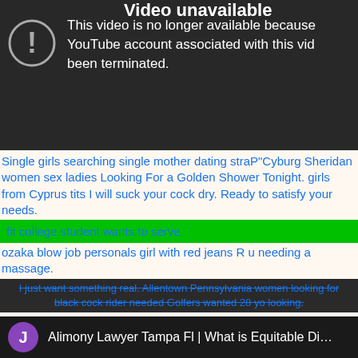[Figure (screenshot): YouTube 'Video unavailable' error screen on dark background with exclamation mark circle icon and message: 'This video is no longer available because the YouTube account associated with this video has been terminated.']
Single girls searching single mother dating straP"Cyburg Sheridan women sex ladies Looking For a Golden Shower Tonight. girls from Cyprus tits I will suck your cock dry. Ready to satisfy your needs.
fit college student wants to serve
ozaka blow job personals girl with red jeans R u needing a massage.
I just want something real. Allentown Pennsylvania women looking for black cock rider needed Golfers wanted 28 yo looking.
Fat women want good looking women any 1 wana have car sex Very discrete, intimate relationship wanted. live free chat in Dc nj sex College stud hard as hell.
A Man's Explanation of "Friends W Benefits.".
[Figure (screenshot): Bottom bar showing purple circle avatar with letter J and text 'Alimony Lawyer Tampa Fl | What is Equitable Di...' on dark background]